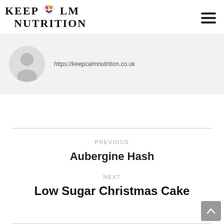KEEP CALM NUTRITION
[Figure (photo): Author avatar placeholder with grey person silhouette inside a circle, with URL https://keepcalmnutrition.co.uk]
https://keepcalmnutrition.co.uk
PREVIOUS
Aubergine Hash
NEXT
Low Sugar Christmas Cake